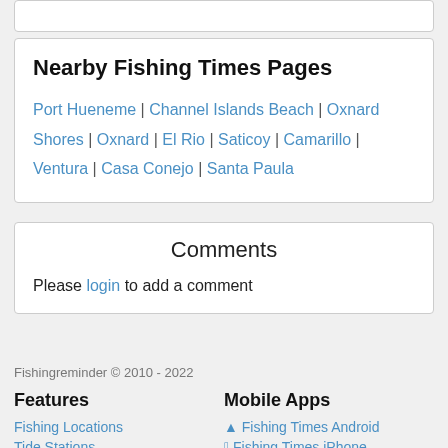Nearby Fishing Times Pages
Port Hueneme | Channel Islands Beach | Oxnard Shores | Oxnard | El Rio | Saticoy | Camarillo | Ventura | Casa Conejo | Santa Paula
Comments
Please login to add a comment
Fishingreminder © 2010 - 2022
Features
Fishing Locations
Tide Stations
Fishing Forum
Fishing Photos
Mobile Apps
Fishing Times Android
Fishing Times iPhone
Tide Clock Android
Tide Clock iPhone